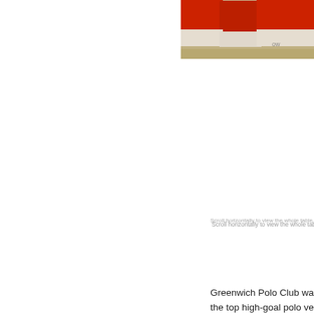[Figure (photo): Partial view of polo players in red shirts, cropped at top right of page]
Scroll horizontally to view the whole table
Greenwich Polo Club wa... the top high-goal polo ve... of legendary teams, pro... GPC hosts some of the... prestigious East Coast C...
The club is home to the... successful in history, ha... any team over the cours... Championship in 2005.